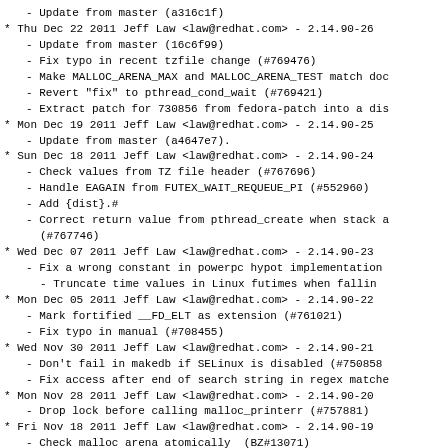- Update from master (a316c1f)
* Thu Dec 22 2011 Jeff Law <law@redhat.com> - 2.14.90-26
- Update from master (16c6f99)
- Fix typo in recent tzfile change (#769476)
- Make MALLOC_ARENA_MAX and MALLOC_ARENA_TEST match doc
- Revert "fix" to pthread_cond_wait (#769421)
- Extract patch for 730856 from fedora-patch into a dis
* Mon Dec 19 2011 Jeff Law <law@redhat.com> - 2.14.90-25
- Update from master (a4647e7).
* Sun Dec 18 2011 Jeff Law <law@redhat.com> - 2.14.90-24
- Check values from TZ file header (#767696)
- Handle EAGAIN from FUTEX_WAIT_REQUEUE_PI (#552960)
- Add {dist}.#
- Correct return value from pthread_create when stack a
(#767746)
* Wed Dec 07 2011 Jeff Law <law@redhat.com> - 2.14.90-23
- Fix a wrong constant in powerpc hypot implementation
- Truncate time values in Linux futimes when fallin
* Mon Dec 05 2011 Jeff Law <law@redhat.com> - 2.14.90-22
- Mark fortified __FD_ELT as extension (#761021)
- Fix typo in manual (#708455)
* Wed Nov 30 2011 Jeff Law <law@redhat.com> - 2.14.90-21
- Don't fail in makedb if SELinux is disabled (#750858
- Fix access after end of search string in regex matche
* Mon Nov 28 2011 Jeff Law <law@redhat.com> - 2.14.90-20
- Drop lock before calling malloc_printerr (#757881)
* Fri Nov 18 2011 Jeff Law <law@redhat.com> - 2.14.90-19
- Check malloc arena atomically  (BZ#13071)
- Don't call reused_arena when _int_new_arena failed (#
* Wed Nov 16 2011 Jeff Law <law@redhat.com> - 2.14.90-18